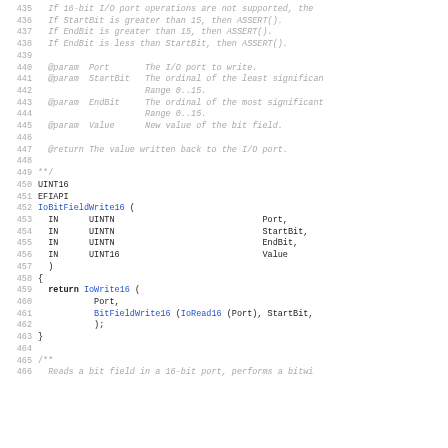Source code listing lines 435-466, showing IoBitFieldWrite16 function documentation and implementation in C/EFI style.